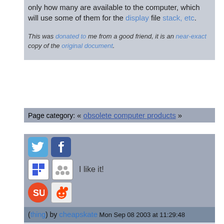only how many are available to the computer, which will use some of them for the display file stack, etc.
This was donated to me from a good friend, it is an near-exact copy of the original document.
Page category: « obsolete computer products »
[Figure (other): Social sharing icons: Twitter, Facebook, Delicious, Meetup (I like it!), StumbleUpon, Reddit]
(thing) by cheapskate Mon Sep 08 2003 at 11:29:48
Adendum,
Actually, 32k, 48k,